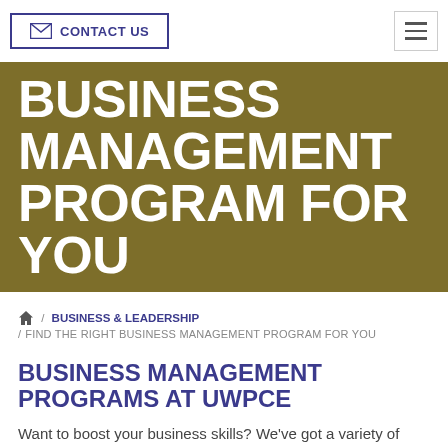CONTACT US  [hamburger menu]
BUSINESS MANAGEMENT PROGRAM FOR YOU
🏠 / BUSINESS & LEADERSHIP / FIND THE RIGHT BUSINESS MANAGEMENT PROGRAM FOR YOU
BUSINESS MANAGEMENT PROGRAMS AT UWPCE
Want to boost your business skills? We've got a variety of management programs that will help